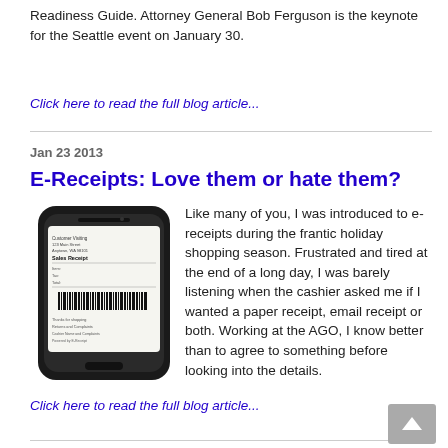Readiness Guide. Attorney General Bob Ferguson is the keynote for the Seattle event on January 30.
Click here to read the full blog article...
Jan 23 2013
E-Receipts: Love them or hate them?
[Figure (photo): Smartphone displaying a receipt/e-receipt on its screen]
Like many of you, I was introduced to e-receipts during the frantic holiday shopping season. Frustrated and tired at the end of a long day, I was barely listening when the cashier asked me if I wanted a paper receipt, email receipt or both. Working at the AGO, I know better than to agree to something before looking into the details.
Click here to read the full blog article...